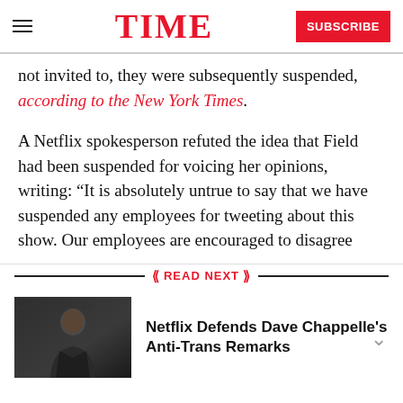TIME — SUBSCRIBE
not invited to, they were subsequently suspended, according to the New York Times.
A Netflix spokesperson refuted the idea that Field had been suspended for voicing her opinions, writing: “It is absolutely untrue to say that we have suspended any employees for tweeting about this show. Our employees are encouraged to disagree
READ NEXT
[Figure (photo): Photo of Dave Chappelle in a dark suit at an event]
Netflix Defends Dave Chappelle's Anti-Trans Remarks